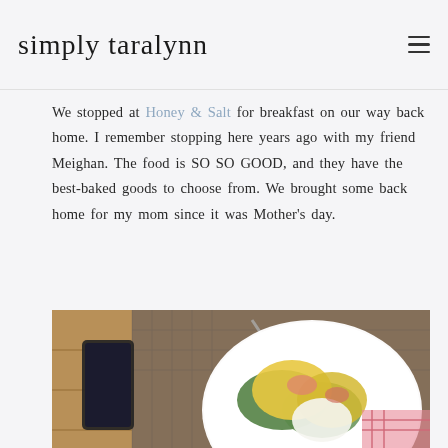simply taralynn
We stopped at Honey & Salt for breakfast on our way back home. I remember stopping here years ago with my friend Meighan. The food is SO SO GOOD, and they have the best-baked goods to choose from. We brought some back home for my mom since it was Mother’s day.
[Figure (photo): Photo of a breakfast plate with eggs benedict and greens on a white plate, alongside a cup of coffee, placed on an outdoor mesh table. A smartphone is visible on the left side.]
[Figure (infographic): Advertisement banner at the bottom showing two blue human figures and the text 'Hold and Move']